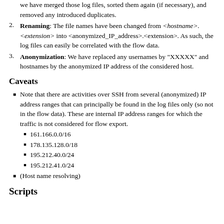we have merged those log files, sorted them again (if necessary), and removed any introduced duplicates.
Renaming: The file names have been changed from <hostname>.<extension> into <anonymized_IP_address>.<extension>. As such, the log files can easily be correlated with the flow data.
Anonymization: We have replaced any usernames by "XXXXX" and hostnames by the anonymized IP address of the considered host.
Caveats
Note that there are activities over SSH from several (anonymized) IP address ranges that can principally be found in the log files only (so not in the flow data). These are internal IP address ranges for which the traffic is not considered for flow export.
161.166.0.0/16
178.135.128.0/18
195.212.40.0/24
195.212.41.0/24
(Host name resolving)
Scripts